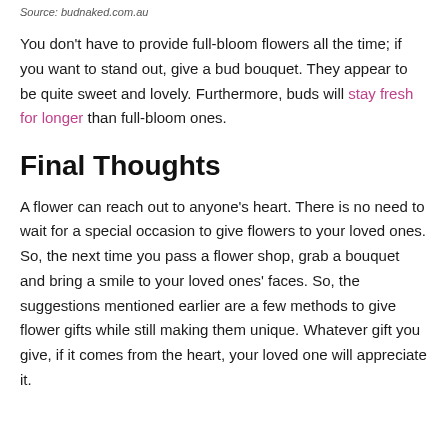Source: budnaked.com.au
You don't have to provide full-bloom flowers all the time; if you want to stand out, give a bud bouquet. They appear to be quite sweet and lovely. Furthermore, buds will stay fresh for longer than full-bloom ones.
Final Thoughts
A flower can reach out to anyone's heart. There is no need to wait for a special occasion to give flowers to your loved ones. So, the next time you pass a flower shop, grab a bouquet and bring a smile to your loved ones' faces. So, the suggestions mentioned earlier are a few methods to give flower gifts while still making them unique. Whatever gift you give, if it comes from the heart, your loved one will appreciate it.